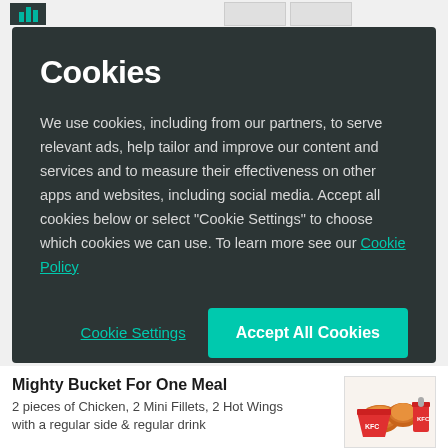[Figure (logo): KFC/Deliveroo style logo with teal colored bars in top left navigation area]
Cookies
We use cookies, including from our partners, to serve relevant ads, help tailor and improve our content and services and to measure their effectiveness on other apps and websites, including social media. Accept all cookies below or select “Cookie Settings” to choose which cookies we can use. To learn more see our Cookie Policy
Cookie Settings
Accept All Cookies
Mighty Bucket For One Meal
2 pieces of Chicken, 2 Mini Fillets, 2 Hot Wings with a regular side & regular drink